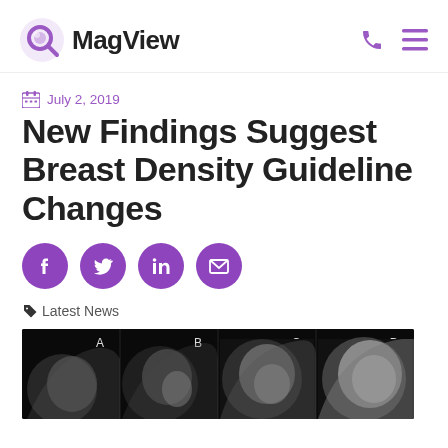MagView
July 2, 2019
New Findings Suggest Breast Density Guideline Changes
[Figure (infographic): Social media share buttons: Facebook, Twitter, LinkedIn, Email]
Latest News
[Figure (photo): Four mammogram images labeled A, B, C, D showing different breast density categories on black background]